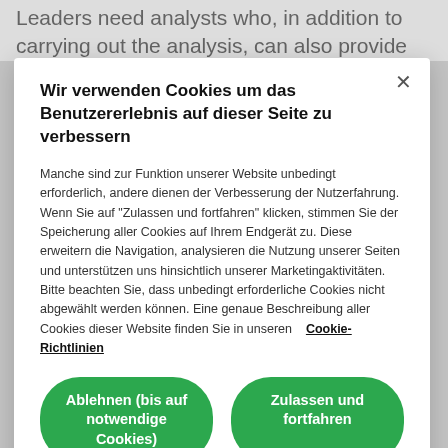Leaders need analysts who, in addition to carrying out the analysis, can also provide
Wir verwenden Cookies um das Benutzererlebnis auf dieser Seite zu verbessern
Manche sind zur Funktion unserer Website unbedingt erforderlich, andere dienen der Verbesserung der Nutzerfahrung. Wenn Sie auf "Zulassen und fortfahren" klicken, stimmen Sie der Speicherung aller Cookies auf Ihrem Endgerät zu. Diese erweitern die Navigation, analysieren die Nutzung unserer Seiten und unterstützen uns hinsichtlich unserer Marketingaktivitäten. Bitte beachten Sie, dass unbedingt erforderliche Cookies nicht abgewählt werden können. Eine genaue Beschreibung aller Cookies dieser Website finden Sie in unseren    Cookie-Richtlinien
Ablehnen (bis auf notwendige Cookies)
Zulassen und fortfahren